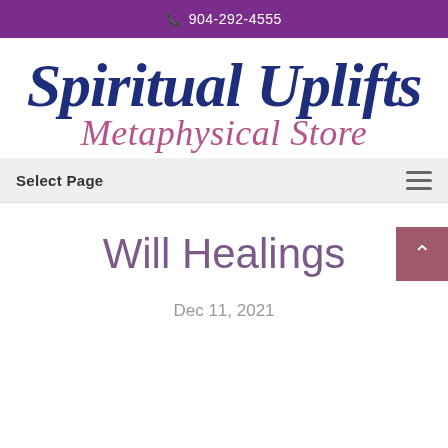📞 904-292-4555
[Figure (logo): Spiritual Uplifts Metaphysical Store logo with cursive/italic text in dark blue and pink/mauve colors]
Select Page
Will Healings
Dec 11, 2021